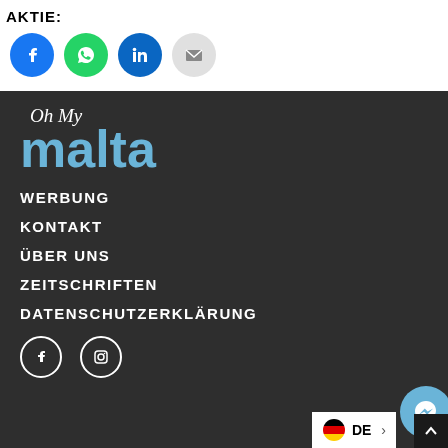AKTIE:
[Figure (illustration): Four social share buttons: Facebook (blue circle), WhatsApp (green circle), LinkedIn (dark blue circle), Email (gray circle)]
[Figure (logo): Oh My Malta logo - cursive 'Oh My' in white over bold 'malta' in steel blue]
WERBUNG
KONTAKT
ÜBER UNS
ZEITSCHRIFTEN
DATENSCHUTZERKLÄRUNG
[Figure (illustration): Facebook and Instagram footer social icons in white on dark background]
[Figure (illustration): Language selector showing German flag and 'DE' text, and a Messenger chat button (blue circle with lightning bolt icon), and a scroll-to-top button (dark square with up arrow)]